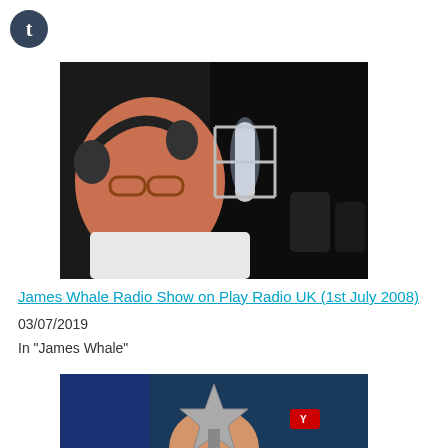[Figure (logo): Tumblr-style 't' icon — dark circular button with white letter t]
[Figure (photo): Man wearing headphones and glasses sitting in front of a microphone in a radio studio, dark background]
James Whale Radio Show on Play Radio UK (1st July 2008)
03/07/2019
In "James Whale"
[Figure (photo): Partial view of radio presenter with microphone and blue background, cropped at bottom]